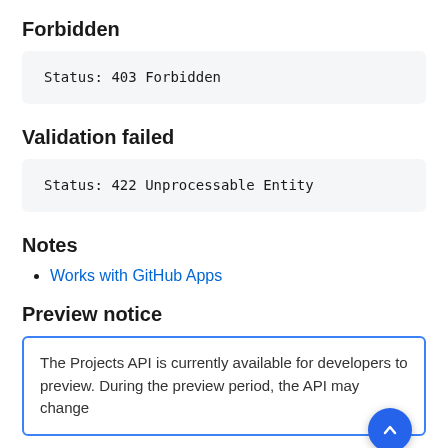Forbidden
Status: 403 Forbidden
Validation failed
Status: 422 Unprocessable Entity
Notes
Works with GitHub Apps
Preview notice
The Projects API is currently available for developers to preview. During the preview period, the API may change